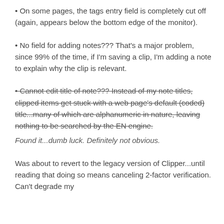• On some pages, the tags entry field is completely cut off (again, appears below the bottom edge of the monitor).
• No field for adding notes??? That's a major problem, since 99% of the time, if I'm saving a clip, I'm adding a note to explain why the clip is relevant.
• Cannot edit title of note??? Instead of my note titles, clipped items get stuck with a web page's default (coded) title...many of which are alphanumeric in nature, leaving nothing to be searched by the EN engine. [strikethrough]
Found it...dumb luck. Definitely not obvious.
Was about to revert to the legacy version of Clipper...until reading that doing so means canceling 2-factor verification. Can't degrade my